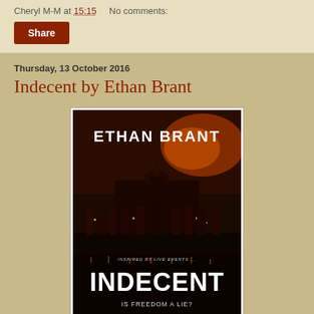Cheryl M-M at 15:15    No comments:
Share
Thursday, 13 October 2016
Indecent by Ethan Brant
[Figure (illustration): Book cover for 'Indecent' by Ethan Brant. Dark nighttime aerial cityscape with orange/red glowing lights. Large bold white text at top reads 'ETHAN BRANT'. Small italic text in middle reads 'INSPIRED BY LIVE EVENTS...'. Large bold white text near bottom reads 'INDECENT'. Below that reads 'IS FREEDOM A LIE?']